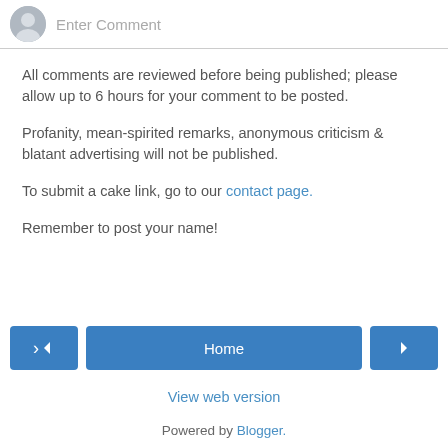[Figure (other): Comment input bar with avatar icon and 'Enter Comment' placeholder text]
All comments are reviewed before being published; please allow up to 6 hours for your comment to be posted.
Profanity, mean-spirited remarks, anonymous criticism & blatant advertising will not be published.
To submit a cake link, go to our contact page.
Remember to post your name!
[Figure (screenshot): Navigation bar with previous arrow button, Home button, and next arrow button]
View web version
Powered by Blogger.